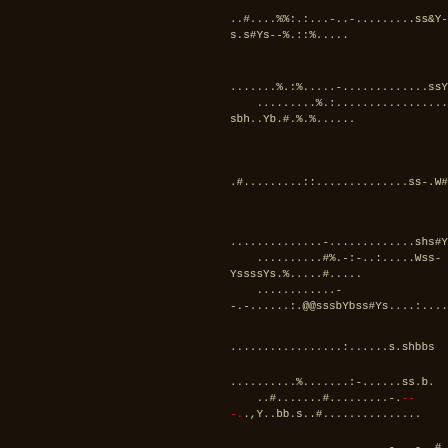..#....%%:.:...-..-.........ss&Y-
s.s#Ys--%.::%.....
.......%.:%.....-.............ssYW
    .........%.:..................s-
sbh..Yb.#.%.%......
.#.........::..............ss-.W#
..............-.............shs#Yi
    ..........#%.-:-..:.....Wss-
YssssYs.%.....#.....
    ............-
-.-......:.@@sssbYbss#Ys....:....
.................:......s.shbbs
..........%.......:-......ss.b.
    ..#.......#.........-.-
-..,Y..bb.s..#...............
........................-...-..#..#..
-- Weapons left ----------------------